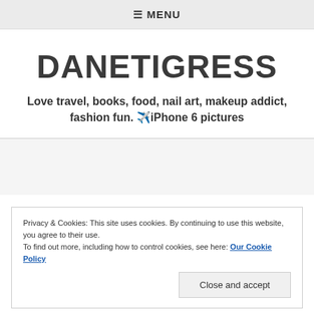☰ MENU
DANETIGRESS
Love travel, books, food, nail art, makeup addict, fashion fun. ✈️iPhone 6 pictures
Privacy & Cookies: This site uses cookies. By continuing to use this website, you agree to their use.
To find out more, including how to control cookies, see here: Our Cookie Policy
Close and accept